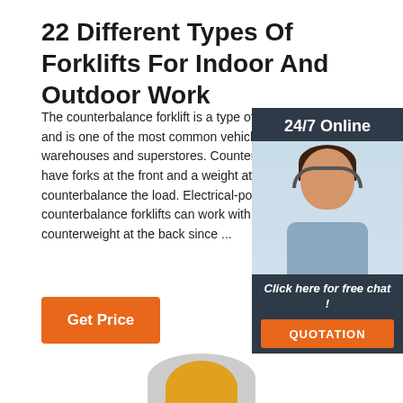22 Different Types Of Forklifts For Indoor And Outdoor Work
The counterbalance forklift is a type of warehouse forklift and is one of the most common vehicles used in warehouses and superstores. Counterbalance forklifts have forks at the front and a weight at the front to counterbalance the load. Electrical-powered counterbalance forklifts can work with a lighter counterweight at the back since ...
[Figure (photo): Advertisement overlay showing a woman wearing a headset with '24/7 Online' header, 'Click here for free chat!' text, and an orange QUOTATION button, styled as a live chat widget]
[Figure (photo): Partial bottom image showing the top of a person wearing a yellow hard hat/helmet]